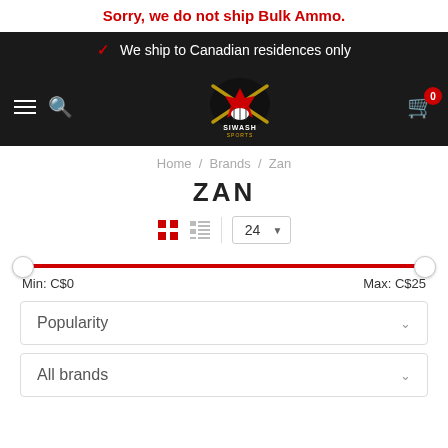Sorry, we do not ship Bulk Ammo.
We ship to Canadian residences only
[Figure (logo): Siwash Sports logo with crossed rifles and maple leaf]
Home / Brands / Zan
ZAN
View controls: grid, list, 24 per page
Min: C$0    Max: C$25
Popularity
All brands